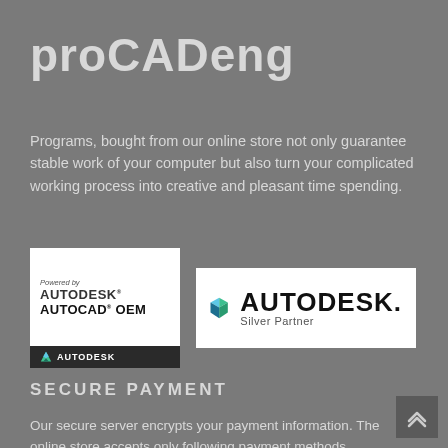proCADeng
Programs, bought from our online store not only guarantee stable work of your computer but also turn your complicated working process into creative and pleasant time spending.
[Figure (logo): Powered by AUTODESK AUTOCAD OEM logo with dark footer bar showing Autodesk logo]
[Figure (logo): Autodesk Silver Partner logo with triangle icon]
SECURE PAYMENT
Our secure server encrypts your payment information. The online store accepts only following payment methods.